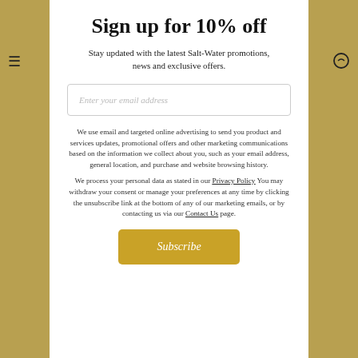Sign up for 10% off
Stay updated with the latest Salt-Water promotions, news and exclusive offers.
Enter your email address
We use email and targeted online advertising to send you product and services updates, promotional offers and other marketing communications based on the information we collect about you, such as your email address, general location, and purchase and website browsing history.
We process your personal data as stated in our Privacy Policy You may withdraw your consent or manage your preferences at any time by clicking the unsubscribe link at the bottom of any of our marketing emails, or by contacting us via our Contact Us page.
Subscribe